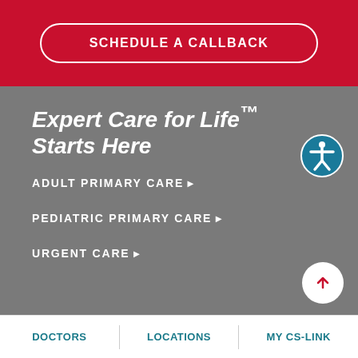[Figure (screenshot): Red button with white border and text SCHEDULE A CALLBACK on a red background]
Expert Care for Life™ Starts Here
ADULT PRIMARY CARE ▶
PEDIATRIC PRIMARY CARE ▶
URGENT CARE ▶
DOCTORS | LOCATIONS | MY CS-LINK